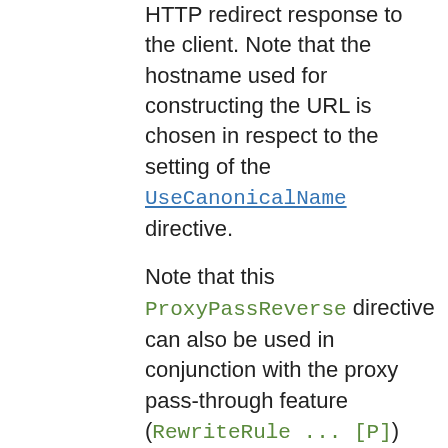HTTP redirect response to the client. Note that the hostname used for constructing the URL is chosen in respect to the setting of the UseCanonicalName directive.
Note that this ProxyPassReverse directive can also be used in conjunction with the proxy pass-through feature (RewriteRule ... [P]) from mod_rewrite because it doesn't depend on a corresponding ProxyPass directive.
The optional interpolate keyword (available in httpd 2.2.9 and later), used together with